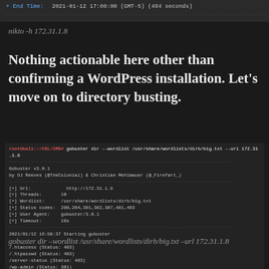[Figure (screenshot): Top terminal strip showing End Time: 2021-01-12 17:00:00 (GMT-5) (484 seconds) with dotted separator line]
nikto -h 172.31.1.8
Nothing actionable here other than confirming a WordPress installation. Let’s move on to directory busting.
[Figure (screenshot): Terminal window showing gobuster dir command output with status codes for .htaccess, .htpasswd, /server-status (403), /wp-admin, /wp-content, /wp-includes (301)]
gobuster dir –wordlist /usr/share/wordlists/dirb/big.txt –url 172.31.1.8